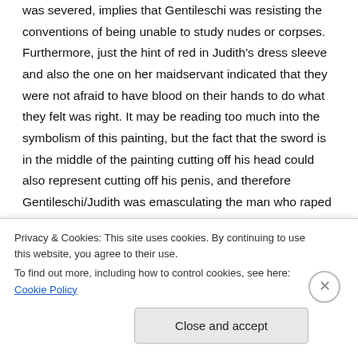was severed, implies that Gentileschi was resisting the conventions of being unable to study nudes or corpses. Furthermore, just the hint of red in Judith's dress sleeve and also the one on her maidservant indicated that they were not afraid to have blood on their hands to do what they felt was right. It may be reading too much into the symbolism of this painting, but the fact that the sword is in the middle of the painting cutting off his head could also represent cutting off his penis, and therefore Gentileschi/Judith was emasculating the man who raped
Privacy & Cookies: This site uses cookies. By continuing to use this website, you agree to their use.
To find out more, including how to control cookies, see here: Cookie Policy